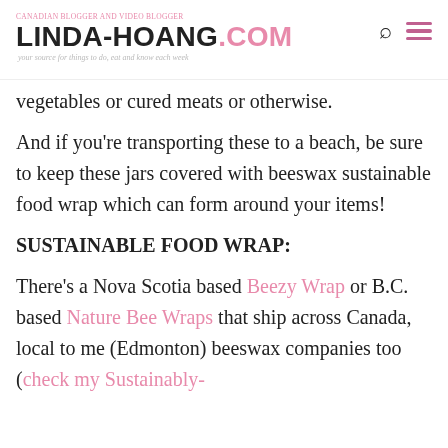CANADIAN BLOGGER AND VIDEO BLOGGER | LINDA-HOANG.COM | your source for things to do, eat and know each week
vegetables or cured meats or otherwise.
And if you're transporting these to a beach, be sure to keep these jars covered with beeswax sustainable food wrap which can form around your items!
SUSTAINABLE FOOD WRAP:
There's a Nova Scotia based Beezy Wrap or B.C. based Nature Bee Wraps that ship across Canada, local to me (Edmonton) beeswax companies too (check my Sustainably-